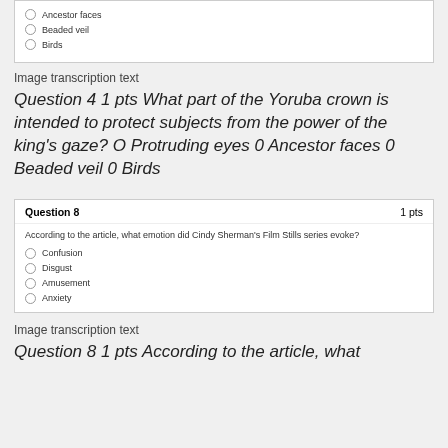[Figure (screenshot): Top portion of a multiple-choice question box with radio options: Ancestor faces, Beaded veil, Birds]
Image transcription text
Question 4 1 pts What part of the Yoruba crown is intended to protect subjects from the power of the king's gaze? O Protruding eyes 0 Ancestor faces 0 Beaded veil 0 Birds
| Question 8 | 1 pts |
| According to the article, what emotion did Cindy Sherman's Film Stills series evoke? |  |
| Confusion |  |
| Disgust |  |
| Amusement |  |
| Anxiety |  |
Image transcription text
Question 8 1 pts According to the article, what